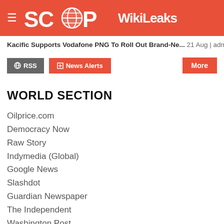SCOOP WikiLeaks
Kacific Supports Vodafone PNG To Roll Out Brand-Ne... 21 Aug | admin
[Figure (screenshot): RSS and News Alerts buttons with More button on the right]
WORLD SECTION
Oilprice.com
Democracy Now
Raw Story
Indymedia (Global)
Google News
Slashdot
Guardian Newspaper
The Independent
Washington Post
New York Times
BBC News